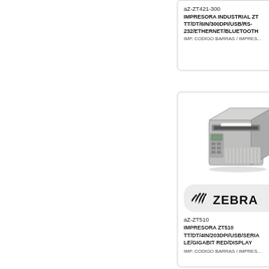aZ-ZT421-300
IMPRESORA INDUSTRIAL ZT TT/DT/6IN/300DPI/USB/RS-232/ETHERNET/BLUETOOTH
IMP. CODIGO BARRAS / IMPRES...
[Figure (photo): Zebra industrial label printer ZT510 - gray box-shaped printer with control panel and keypad on front left, paper output slot at top]
[Figure (logo): Zebra Technologies logo - stylized signal/wifi-like icon followed by ZEBRA text in bold]
aZ-ZT510
IMPRESORA ZT510 TT/DT/4IN/203DPI/USB/SERIALE/GIGABIT RED/DISPLAY
IMP. CODIGO BARRAS / IMPRES...